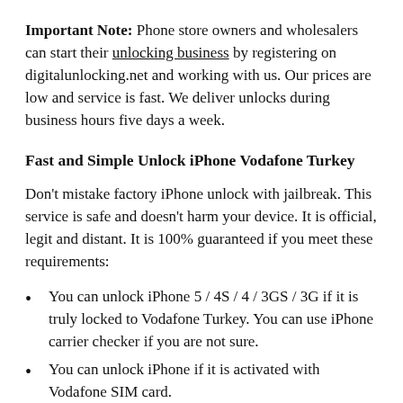Important Note: Phone store owners and wholesalers can start their unlocking business by registering on digitalunlocking.net and working with us. Our prices are low and service is fast. We deliver unlocks during business hours five days a week.
Fast and Simple Unlock iPhone Vodafone Turkey
Don't mistake factory iPhone unlock with jailbreak. This service is safe and doesn't harm your device. It is official, legit and distant. It is 100% guaranteed if you meet these requirements:
You can unlock iPhone 5 / 4S / 4 / 3GS / 3G if it is truly locked to Vodafone Turkey. You can use iPhone carrier checker if you are not sure.
You can unlock iPhone if it is activated with Vodafone SIM card.